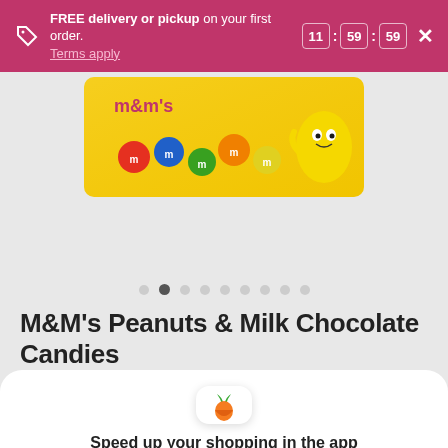FREE delivery or pickup on your first order. Terms apply. 11 : 59 : 59
[Figure (photo): M&M's Peanuts & Milk Chocolate Candies product bag — yellow bag with colorful M&M candies and cartoon yellow M&M character]
• • • • • • • • • (carousel dots, second dot active)
M&M's Peanuts & Milk Chocolate Candies
[Figure (logo): Instacart carrot logo icon — white rounded square with green carrot leaves and orange carrot body]
Speed up your shopping in the app
Continue in app
Continue in browser